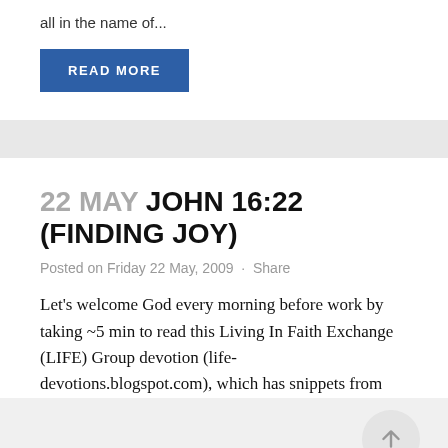all in the name of...
READ MORE
22 MAY JOHN 16:22 (FINDING JOY)
Posted on Friday 22 May, 2009 · Share
Let's welcome God every morning before work by taking ~5 min to read this Living In Faith Exchange (LIFE) Group devotion (life-devotions.blogspot.com), which has snippets from